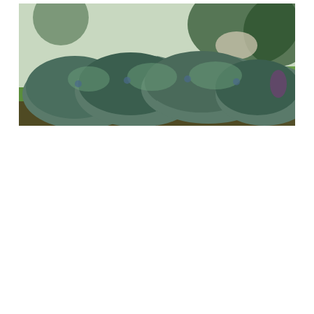[Figure (photo): Photograph of low-growing blue-green juniper or similar evergreen shrub planted in a landscape bed with green grass visible in the background]
[Figure (infographic): Red/maroon advertisement banner with large white bold italic text reading CHANGE, a photo of a tan/brown pitbull dog on the left, white heart outline icons in the center, and partial letter A on the right]
[Figure (infographic): Teal/dark-green horizontal advertisement banner with a pitbull dog image on the left and white bold text reading FOSTER. ADOPT. with heart icons and RESCUE. ADVOCATE.]